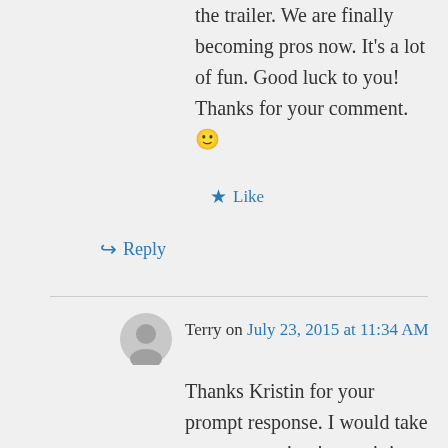the trailer. We are finally becoming pros now. It's a lot of fun. Good luck to you! Thanks for your comment. 🙂
★ Like
↪ Reply
Terry on July 23, 2015 at 11:34 AM
Thanks Kristin for your prompt response. I would take your suggestion just as it is and avoid the microwave. You can always get a smaller microwave and have little left over space for other storage. Two more questions: 1. Do you like the CRY brand TV and DVD combo